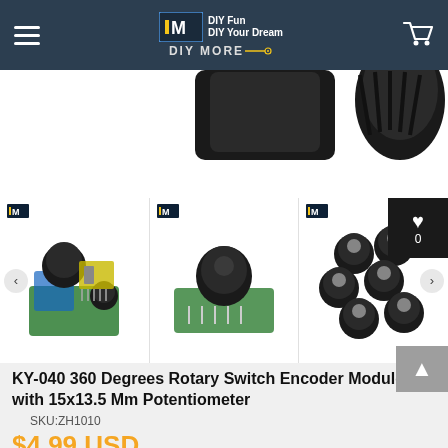DIY MORE — DIY Fun DIY Your Dream
[Figure (photo): Product hero image showing black rotary encoder knobs on white background]
[Figure (photo): Three product thumbnail images: (1) KY-040 rotary encoder module with knobs and PCB, (2) rotary encoder module close-up, (3) multiple black knobs]
KY-040 360 Degrees Rotary Switch Encoder Module with 15x13.5 Mm Potentiometer
SKU:ZH1010
$4.99 USD